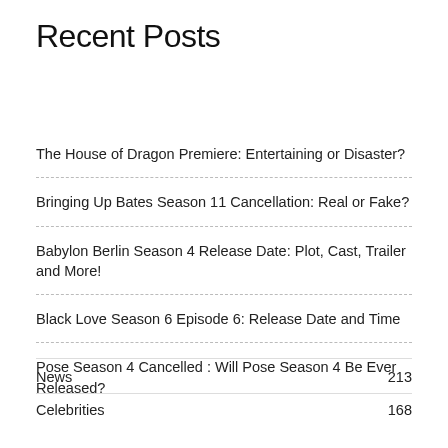Recent Posts
The House of Dragon Premiere: Entertaining or Disaster?
Bringing Up Bates Season 11 Cancellation: Real or Fake?
Babylon Berlin Season 4 Release Date: Plot, Cast, Trailer and More!
Black Love Season 6 Episode 6: Release Date and Time
Pose Season 4 Cancelled : Will Pose Season 4 Be Ever Released?
| Category | Count |
| --- | --- |
| News | 213 |
| Celebrities | 168 |